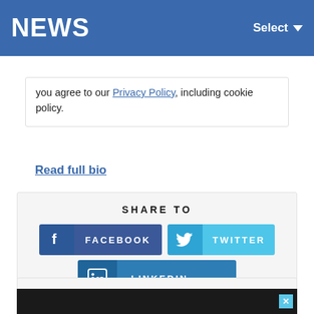NEWS  Select
you agree to our Privacy Policy, including cookie policy.
Read full bio
SHARE TO
[Figure (infographic): Social share buttons: Facebook, Twitter, LinkedIn]